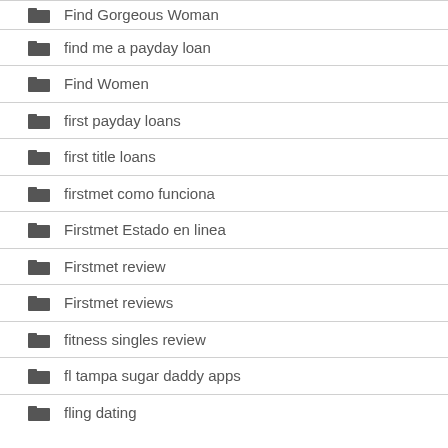Find Gorgeous Woman
find me a payday loan
Find Women
first payday loans
first title loans
firstmet como funciona
Firstmet Estado en linea
Firstmet review
Firstmet reviews
fitness singles review
fl tampa sugar daddy apps
fling dating